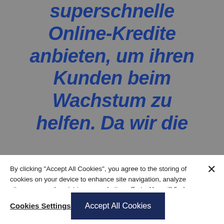[Figure (photo): Gray background hero section with large bold italic blue German text reading 'superschnelle Online-Kredite anbieten, um ihren Kunden beim Wachstum zu helfen. Da wir die']
By clicking "Accept All Cookies", you agree to the storing of cookies on your device to enhance site navigation, analyze site usage, and assist in our marketing efforts. You will find more information on how we use cookies in our Privacy Policy
Cookies Settings
Accept All Cookies